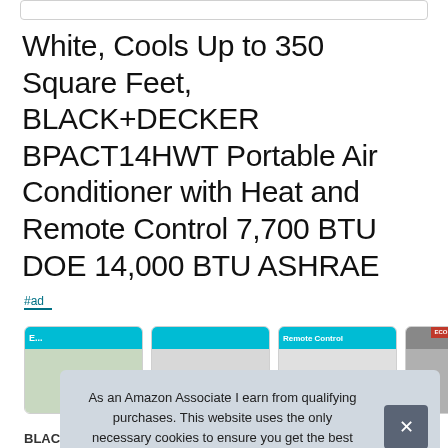White, Cools Up to 350 Square Feet, BLACK+DECKER BPACT14HWT Portable Air Conditioner with Heat and Remote Control 7,700 BTU DOE 14,000 BTU ASHRAE
#ad
[Figure (screenshot): Row of four product thumbnail images showing the BLACK+DECKER portable air conditioner from different angles, with teal header bars and one image showing a red 'ECO VARI IN FRONT' label overlay.]
As an Amazon Associate I earn from qualifying purchases. This website uses the only necessary cookies to ensure you get the best experience on our website. More information
BLACK+DECKER — Shop deals and learning resources for...